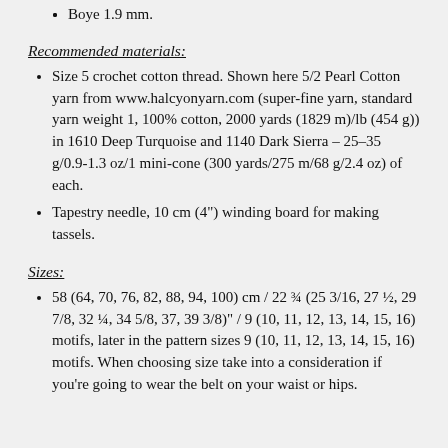Boye 1.9 mm.
Recommended materials:
Size 5 crochet cotton thread. Shown here 5/2 Pearl Cotton yarn from www.halcyonyarn.com (super-fine yarn, standard yarn weight 1, 100% cotton, 2000 yards (1829 m)/lb (454 g)) in 1610 Deep Turquoise and 1140 Dark Sierra – 25–35 g/0.9-1.3 oz/1 mini-cone (300 yards/275 m/68 g/2.4 oz) of each.
Tapestry needle, 10 cm (4") winding board for making tassels.
Sizes:
58 (64, 70, 76, 82, 88, 94, 100) cm / 22 ¾ (25 3/16, 27 ½, 29 7/8, 32 ¼, 34 5/8, 37, 39 3/8)" / 9 (10, 11, 12, 13, 14, 15, 16) motifs, later in the pattern sizes 9 (10, 11, 12, 13, 14, 15, 16) motifs. When choosing size take into a consideration if you're going to wear the belt on your waist or hips.